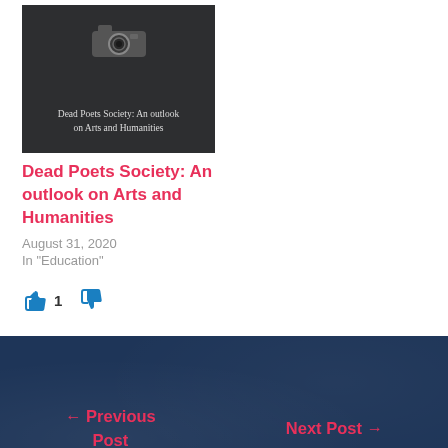[Figure (photo): Dark book/camera cover image for Dead Poets Society post with text overlay]
Dead Poets Society: An outlook on Arts and Humanities
August 31, 2020
In "Education"
[Figure (other): Like button (thumbs up, count 1) and dislike button (thumbs down)]
← Previous Post
Next Post →
About The Author